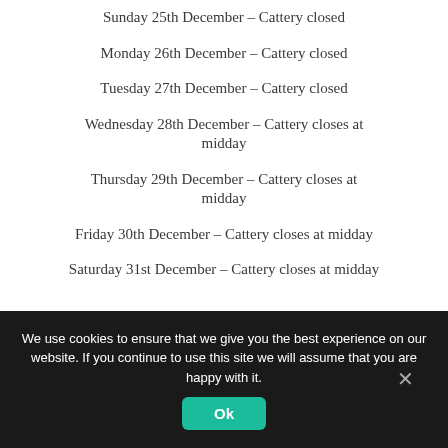Sunday 25th December – Cattery closed
Monday 26th December – Cattery closed
Tuesday 27th December – Cattery closed
Wednesday 28th December – Cattery closes at midday
Thursday 29th December – Cattery closes at midday
Friday 30th December – Cattery closes at midday
Saturday 31st December – Cattery closes at midday
We use cookies to ensure that we give you the best experience on our website. If you continue to use this site we will assume that you are happy with it.